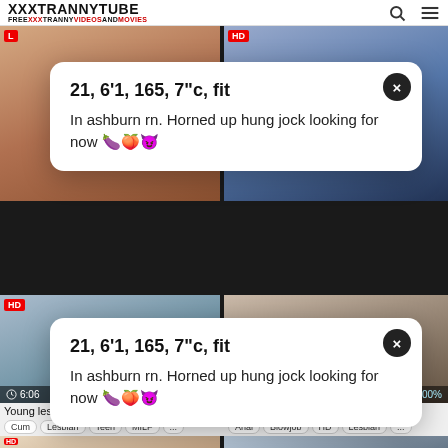XXXTRANNYTUBE FREEXXXTRANNYVIDEOSANDMOVIES
[Figure (screenshot): Video thumbnail grid with two popup ad overlays showing adult content website]
21, 6'1, 165, 7"c, fit
In ashburn rn. Horned up hung jock looking for now 🍆🍑😈
21, 6'1, 165, 7"c, fit
In ashburn rn. Horned up hung jock looking for now 🍆🍑😈
Young lesbian tgirl cums w...
Cum  Lesbian  Teen  MILF  ...
Cute trans girlfriend sucking...
Anal  Blowjob  HD  Lesbian  ...